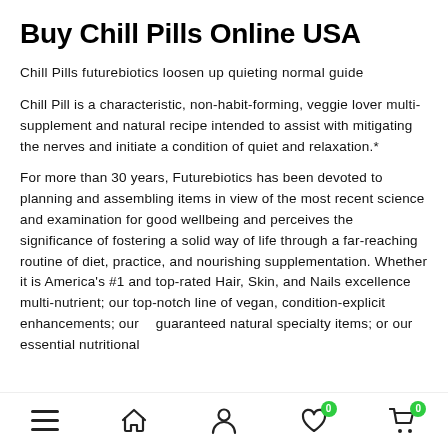Buy Chill Pills Online USA
Chill Pills futurebiotics loosen up quieting normal guide
Chill Pill is a characteristic, non-habit-forming, veggie lover multi-supplement and natural recipe intended to assist with mitigating the nerves and initiate a condition of quiet and relaxation.*
For more than 30 years, Futurebiotics has been devoted to planning and assembling items in view of the most recent science and examination for good wellbeing and perceives the significance of fostering a solid way of life through a far-reaching routine of diet, practice, and nourishing supplementation. Whether it is America's #1 and top-rated Hair, Skin, and Nails excellence multi-nutrient; our top-notch line of vegan, condition-explicit enhancements; our guaranteed natural specialty items; or our essential nutritional
≡  ⌂  👤  ♡ 0  🛒 0